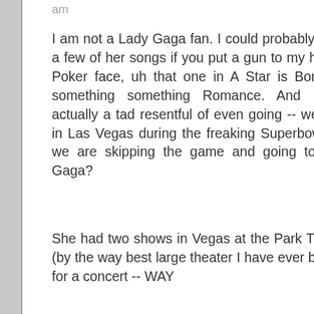am
I am not a Lady Gaga fan. I could probably name a few of her songs if you put a gun to my head -- Poker face, uh that one in A Star is Born, uh, something something Romance. And I was actually a tad resentful of even going -- we were in Las Vegas during the freaking Superbowl and we are skipping the game and going to Lady Gaga?
She had two shows in Vegas at the Park Theater (by the way best large theater I have ever been in for a concert -- WAY